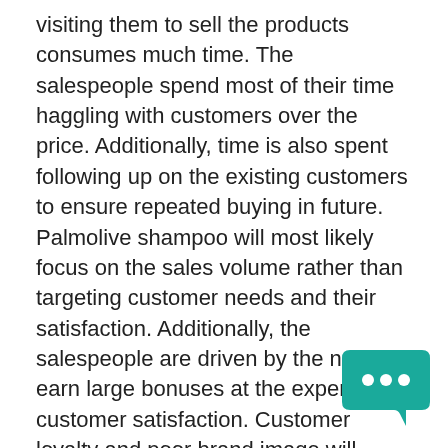visiting them to sell the products consumes much time. The salespeople spend most of their time haggling with customers over the price. Additionally, time is also spent following up on the existing customers to ensure repeated buying in future. Palmolive shampoo will most likely focus on the sales volume rather than targeting customer needs and their satisfaction. Additionally, the salespeople are driven by the need to earn large bonuses at the expense of customer satisfaction. Customer loyalty and poor brand image will result leading to declining sales in the long run. •The third alternative is to make a marketing plan based on the Promotions Strategies of Palmolive Shampoo. Advantages: Promotion is a form of corporate communication that uses various methods to reach a targeted audience with a certain message in order to achieve specific organizational objectives. Nearly all organizations, whether for-profit or not-for-profit, in all types of industries, must engage in some form of promotion In the context of the marketing mix, promotion represents the various aspects of marketing communication, that is, the communication of information about the product with the goal of generating positive customer response.
[Figure (illustration): Teal/green chat bubble icon with three dots, positioned bottom-right corner]